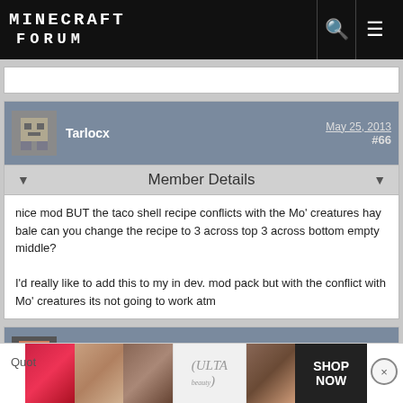MINECRAFT FORUM
Tarlocx  May 25, 2013  #66
Member Details
nice mod BUT the taco shell recipe conflicts with the Mo' creatures hay bale can you change the recipe to 3 across top 3 across bottom empty middle?

I'd really like to add this to my in dev. mod pack but with the conflict with Mo' creatures its not going to work atm
SpiccyNoodles  May 26, 2013  #67
Member Details